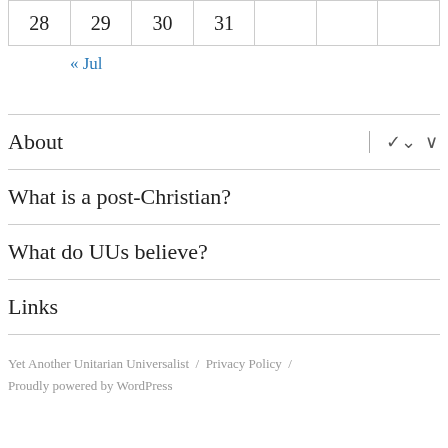| 28 | 29 | 30 | 31 |  |  |  |
« Jul
About
What is a post-Christian?
What do UUs believe?
Links
Yet Another Unitarian Universalist / Privacy Policy / Proudly powered by WordPress